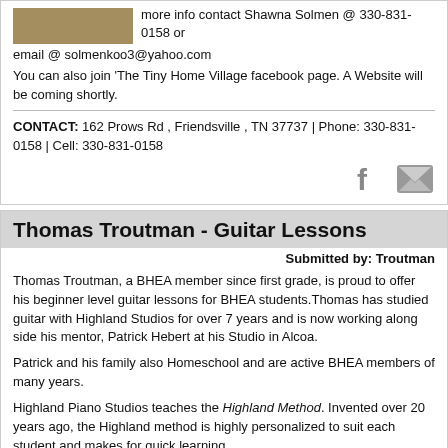more info contact Shawna Solmen @ 330-831-0158 or
email @ solmenkoo3@yahoo.com
You can also join 'The Tiny Home Village facebook page. A Website will be coming shortly.
CONTACT:   162 Prows Rd , Friendsville , TN 37737   |   Phone: 330-831-0158   |   Cell: 330-831-0158
[Figure (infographic): Facebook and email icons in gray]
Thomas Troutman - Guitar Lessons
Submitted by: Troutman
Thomas Troutman, a BHEA member since first grade, is proud to offer his beginner level guitar lessons for BHEA students.Thomas has studied guitar with Highland Studios for over 7 years and is now working along side his mentor, Patrick Hebert at his Studio in Alcoa.
Patrick and his family also Homeschool and are active BHEA members of many years.
Highland Piano Studios teaches the Highland Method. Invented over 20 years ago, the Highland method is highly personalized to suit each student and makes for quick learning.
Highland Piano Studios Website...